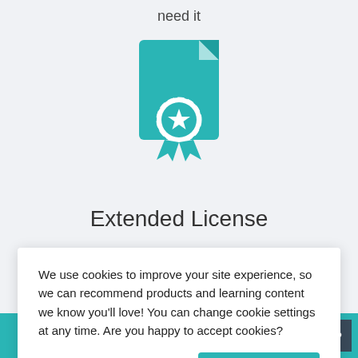need it
[Figure (illustration): Teal colored certificate/license document icon with a ribbon badge and star, representing an Extended License]
Extended License
At no extra cost covering commercial & products
We use cookies to improve your site experience, so we can recommend products and learning content we know you'll love! You can change cookie settings at any time. Are you happy to accept cookies?
Manage Cookie Preferences
Yes I'm Happy